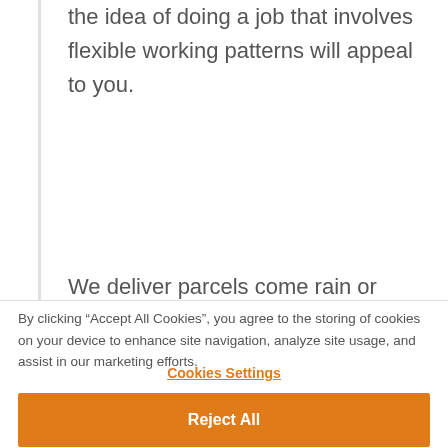the idea of doing a job that involves flexible working patterns will appeal to you.
We deliver parcels come rain or shine, so we're looking for people who like being outdoors whatever the weather, you'll also be someone who likes the idea of doing a job that will help you keep fit.
By clicking “Accept All Cookies”, you agree to the storing of cookies on your device to enhance site navigation, analyze site usage, and assist in our marketing efforts.
Cookies Settings
Reject All